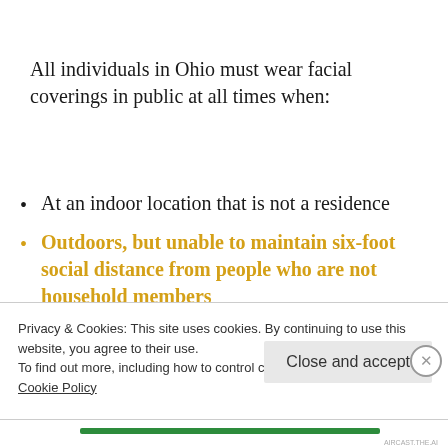All individuals in Ohio must wear facial coverings in public at all times when:
At an indoor location that is not a residence
Outdoors, but unable to maintain six-foot social distance from people who are not household members
Privacy & Cookies: This site uses cookies. By continuing to use this website, you agree to their use.
To find out more, including how to control cookies, see here:
Cookie Policy
Close and accept